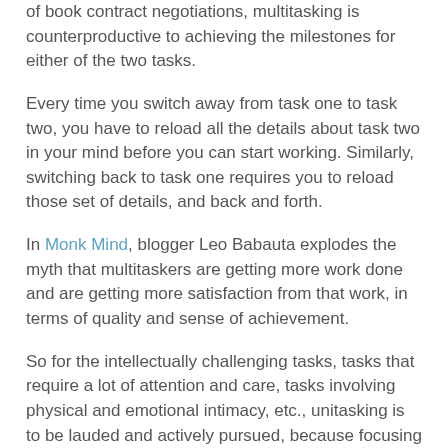of book contract negotiations, multitasking is counterproductive to achieving the milestones for either of the two tasks.
Every time you switch away from task one to task two, you have to reload all the details about task two in your mind before you can start working. Similarly, switching back to task one requires you to reload those set of details, and back and forth.
In Monk Mind, blogger Leo Babauta explodes the myth that multitaskers are getting more work done and are getting more satisfaction from that work, in terms of quality and sense of achievement.
So for the intellectually challenging tasks, tasks that require a lot of attention and care, tasks involving physical and emotional intimacy, etc., unitasking is to be lauded and actively pursued, because focusing on single tasks is the way to go in order to achieve success.
How do you go about focusing the mind on a single task?